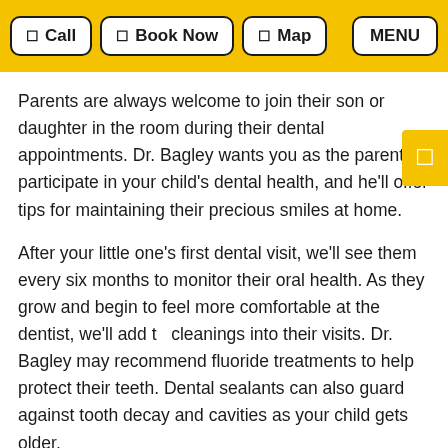Call | Book Now | Map | MENU
Parents are always welcome to join their son or daughter in the room during their dental appointments. Dr. Bagley wants you as the parent to participate in your child's dental health, and he'll offer tips for maintaining their precious smiles at home.
After your little one's first dental visit, we'll see them every six months to monitor their oral health. As they grow and begin to feel more comfortable at the dentist, we'll add to cleanings into their visits. Dr. Bagley may recommend fluoride treatments to help protect their teeth. Dental sealants can also guard against tooth decay and cavities as your child gets older.
Setting your son or daughter up for success by helping them feel safe and comfortable at the dentist is one of the best gifts you can give them. Contact your children's dentist in